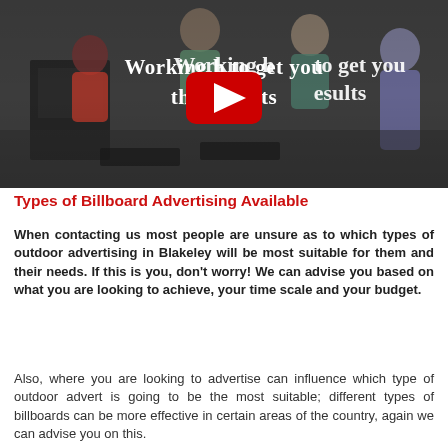[Figure (screenshot): Video thumbnail showing people working at computers with text overlay 'Working hard to get you the best results' and a YouTube play button in the center]
Types of Billboard Advertising Available
When contacting us most people are unsure as to which types of outdoor advertising in Blakeley will be most suitable for them and their needs. If this is you, don't worry! We can advise you based on what you are looking to achieve, your time scale and your budget.
Also, where you are looking to advertise can influence which type of outdoor advert is going to be the most suitable; different types of billboards can be more effective in certain areas of the country, again we can advise you on this.